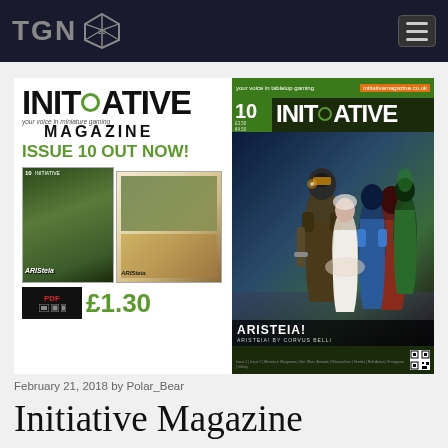TGN
[Figure (screenshot): Initiative Magazine Issue 10 Out Now advertisement banner showing magazine logo, issue thumbnails, price £1.30, and the magazine cover featuring Aristeia! by Corvus Belli artwork]
February 21, 2018 by Polar_Bear
Initiative Magazine